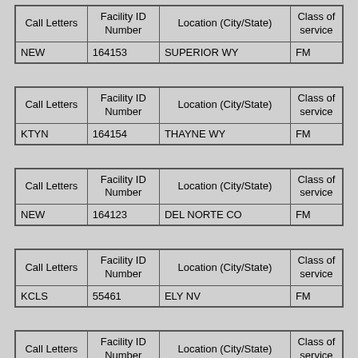| Call Letters | Facility ID Number | Location (City/State) | Class of service |
| --- | --- | --- | --- |
| NEW | 164153 | SUPERIOR WY | FM |
| Call Letters | Facility ID Number | Location (City/State) | Class of service |
| --- | --- | --- | --- |
| KTYN | 164154 | THAYNE WY | FM |
| Call Letters | Facility ID Number | Location (City/State) | Class of service |
| --- | --- | --- | --- |
| NEW | 164123 | DEL NORTE CO | FM |
| Call Letters | Facility ID Number | Location (City/State) | Class of service |
| --- | --- | --- | --- |
| KCLS | 55461 | ELY NV | FM |
| Call Letters | Facility ID Number | Location (City/State) | Class of service |
| --- | --- | --- | --- |